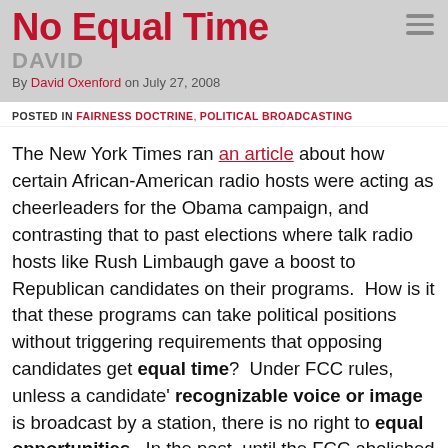No Equal Time
DAVID
By David Oxenford on July 27, 2008
POSTED IN FAIRNESS DOCTRINE, POLITICAL BROADCASTING
The New York Times ran an article about how certain African-American radio hosts were acting as cheerleaders for the Obama campaign, and contrasting that to past elections where talk radio hosts like Rush Limbaugh gave a boost to Republican candidates on their programs.  How is it that these programs can take political positions without triggering requirements that opposing candidates get equal time?  Under FCC rules, unless a candidate' recognizable voice or image is broadcast by a station, there is no right to equal opportunities.  In the past, until the FCC abolished the Fairness Doctrine by declaring it to be